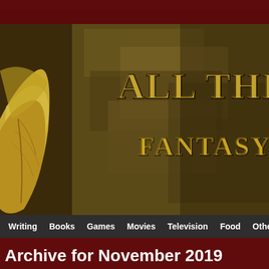[Figure (illustration): Website header banner for 'All Things Fantasy' blog. Shows a large golden textured leaf and dark rocky/earthy background with the text 'ALL THINGS' in large gold distressed font at top right, and 'FANTASY F' (partially cropped) in gold/yellow font below it. Background has dark maroon pattern at top and bottom edges.]
Writing  Books  Games  Movies  Television  Food  Other  Ga...
Archive for November 2019